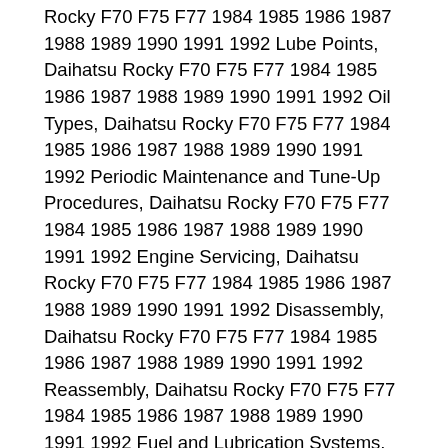Rocky F70 F75 F77 1984 1985 1986 1987 1988 1989 1990 1991 1992 Lube Points, Daihatsu Rocky F70 F75 F77 1984 1985 1986 1987 1988 1989 1990 1991 1992 Oil Types, Daihatsu Rocky F70 F75 F77 1984 1985 1986 1987 1988 1989 1990 1991 1992 Periodic Maintenance and Tune-Up Procedures, Daihatsu Rocky F70 F75 F77 1984 1985 1986 1987 1988 1989 1990 1991 1992 Engine Servicing, Daihatsu Rocky F70 F75 F77 1984 1985 1986 1987 1988 1989 1990 1991 1992 Disassembly, Daihatsu Rocky F70 F75 F77 1984 1985 1986 1987 1988 1989 1990 1991 1992 Reassembly, Daihatsu Rocky F70 F75 F77 1984 1985 1986 1987 1988 1989 1990 1991 1992 Fuel and Lubrication Systems, Daihatsu Rocky F70 F75 F77 1984 1985 1986 1987 1988 1989 1990 1991 1992 Carb Rebuild, Daihatsu Rocky F70 F75 F77 1984 1985 1986 1987 1988 1989 1990 1991 1992 Carb Adjustments, Daihatsu Rocky F70 F75 F77 1984 1985 1986 1987 1988 1989 1990